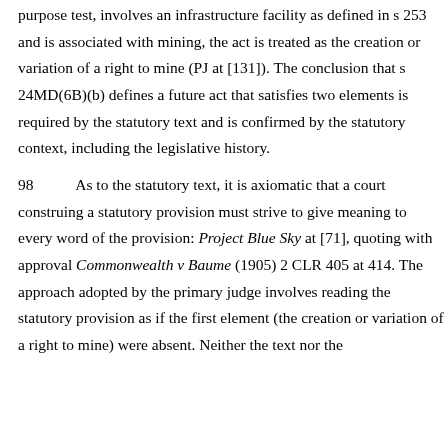purpose test, involves an infrastructure facility as defined in s 253 and is associated with mining, the act is treated as the creation or variation of a right to mine (PJ at [131]). The conclusion that s 24MD(6B)(b) defines a future act that satisfies two elements is required by the statutory text and is confirmed by the statutory context, including the legislative history.
98    As to the statutory text, it is axiomatic that a court construing a statutory provision must strive to give meaning to every word of the provision: Project Blue Sky at [71], quoting with approval Commonwealth v Baume (1905) 2 CLR 405 at 414. The approach adopted by the primary judge involves reading the statutory provision as if the first element (the creation or variation of a right to mine) were absent. Neither the text nor the